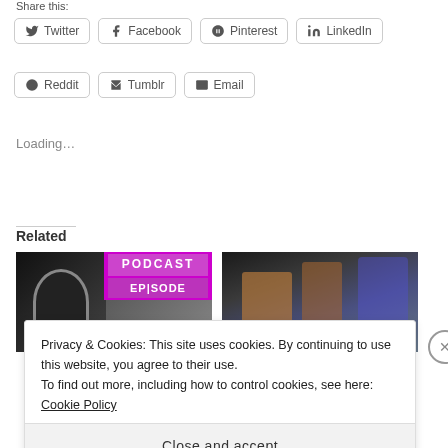Share this:
Twitter
Facebook
Pinterest
LinkedIn
Reddit
Tumblr
Email
Loading...
Related
[Figure (photo): Podcast Episode image with purple text overlay showing 'PODCAST EPISODE']
[Figure (photo): Beer glasses photo with dark background]
Privacy & Cookies: This site uses cookies. By continuing to use this website, you agree to their use.
To find out more, including how to control cookies, see here: Cookie Policy
Close and accept